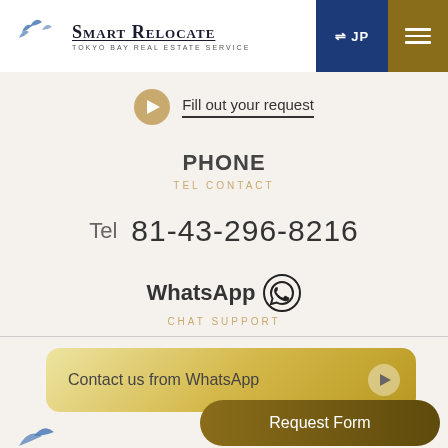[Figure (logo): Smart Relocate - Tokyo Bay Real Estate Service logo with birds]
⇌ JP
≡
Fill out your request
PHONE
TEL CONTACT
Tel  81-43-296-8216
WhatsApp
CHAT SUPPORT
Contact us from WhatsApp
Request Form